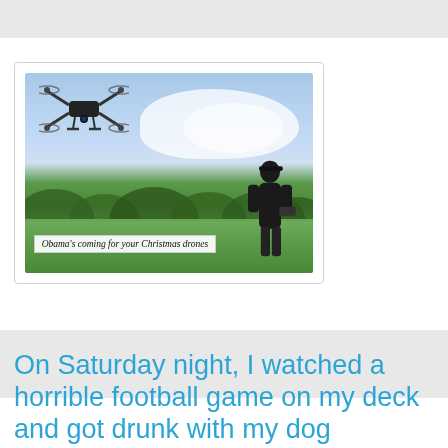[Figure (photo): Drone flying in sky over green fields, with a man holding a remote controller in the background. Caption reads: Obama's coming for your Christmas drones]
Obama's coming for your Christmas drones
On Saturday night, I watched a horrible football game on my deck and got drunk with my dog